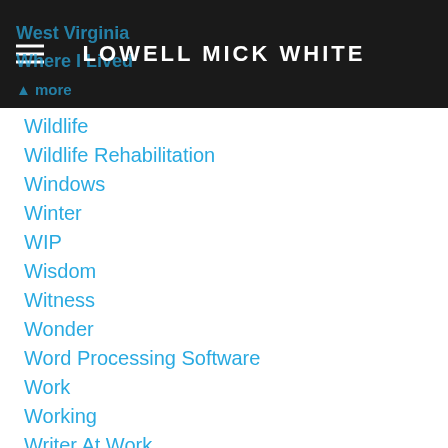LOWELL MICK WHITE
West Virginia
Where I Lived
Wildlife
Wildlife Rehabilitation
Windows
Winter
WIP
Wisdom
Witness
Wonder
Word Processing Software
Work
Working
Writer At Work
Writers
Writing
#writing
Writing Process
#writingprocesses